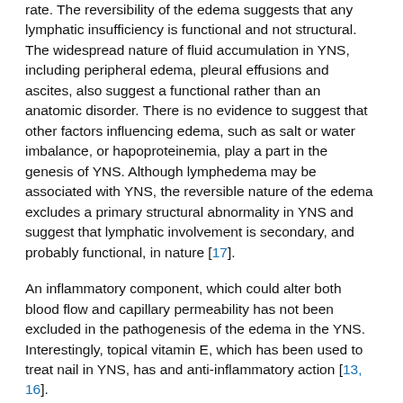rate. The reversibility of the edema suggests that any lymphatic insufficiency is functional and not structural. The widespread nature of fluid accumulation in YNS, including peripheral edema, pleural effusions and ascites, also suggest a functional rather than an anatomic disorder. There is no evidence to suggest that other factors influencing edema, such as salt or water imbalance, or hapoproteinemia, play a part in the genesis of YNS. Although lymphedema may be associated with YNS, the reversible nature of the edema excludes a primary structural abnormality in YNS and suggest that lymphatic involvement is secondary, and probably functional, in nature [17].
An inflammatory component, which could alter both blood flow and capillary permeability has not been excluded in the pathogenesis of the edema in the YNS. Interestingly, topical vitamin E, which has been used to treat nail in YNS, has and anti-inflammatory action [13, 16].
In summary, this report shows a case of familial YNS with implications of genetic factors in the pathogenesis of the disease. On the basis of this observation, it appears essential that family history be considered in the characterization of the